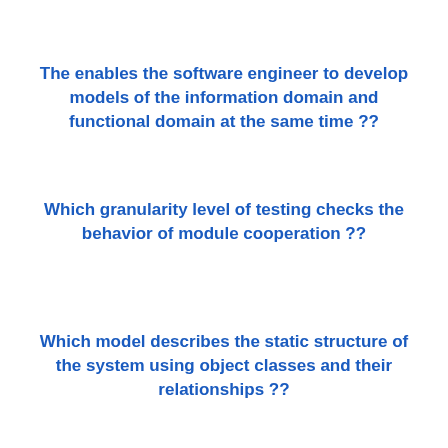The enables the software engineer to develop models of the information domain and functional domain at the same time ??
Which granularity level of testing checks the behavior of module cooperation ??
Which model describes the static structure of the system using object classes and their relationships ??